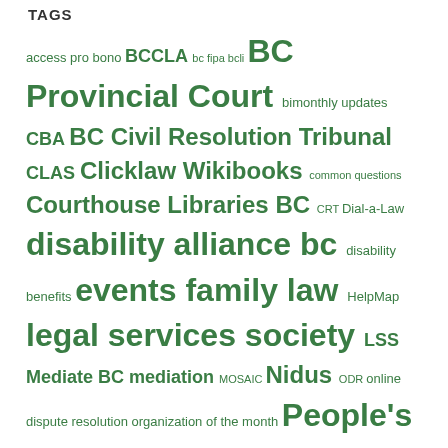TAGS
access pro bono BCCLA bc fipa bcli BC Provincial Court bimonthly updates CBA BC Civil Resolution Tribunal CLAS Clicklaw Wikibooks common questions Courthouse Libraries BC CRT Dial-a-Law disability alliance bc disability benefits events family law HelpMap legal services society LSS Mediate BC mediation MOSAIC Nidus ODR online dispute resolution organization of the month People's Law School personal planning povnet privacy provincial court of bc rdsp refugees settlement workers societies act SRLs survey TRAC training webinar